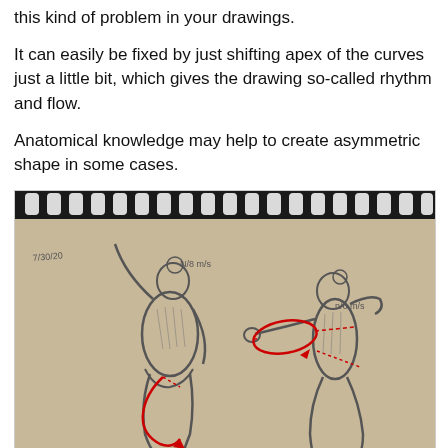this kind of problem in your drawings.
It can easily be fixed by just shifting apex of the curves just a little bit, which gives the drawing so-called rhythm and flow.
Anatomical knowledge may help to create asymmetric shape in some cases.
[Figure (photo): A photograph of a spiral-bound sketchbook showing two pencil figure drawings of human bodies in dynamic poses with red ink annotations marking rhythm and flow curves. Dated 7/30/20 with notes 'N/8 m/s' and 'n/6 m/s'.]